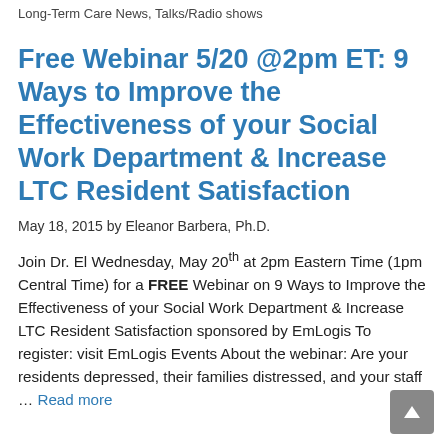Long-Term Care News, Talks/Radio shows
Free Webinar 5/20 @2pm ET: 9 Ways to Improve the Effectiveness of your Social Work Department & Increase LTC Resident Satisfaction
May 18, 2015 by Eleanor Barbera, Ph.D.
Join Dr. El Wednesday, May 20th at 2pm Eastern Time (1pm Central Time) for a FREE Webinar on 9 Ways to Improve the Effectiveness of your Social Work Department & Increase LTC Resident Satisfaction sponsored by EmLogis To register: visit EmLogis Events About the webinar: Are your residents depressed, their families distressed, and your staff … Read more